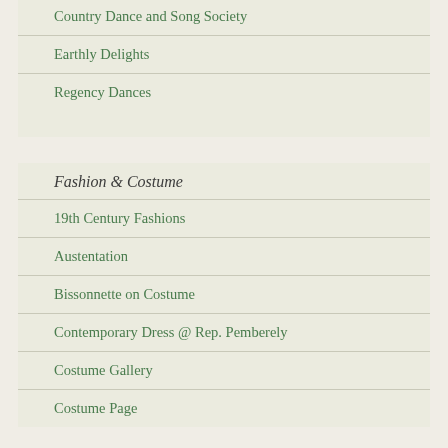Country Dance and Song Society
Earthly Delights
Regency Dances
Fashion & Costume
19th Century Fashions
Austentation
Bissonnette on Costume
Contemporary Dress @ Rep. Pemberely
Costume Gallery
Costume Page